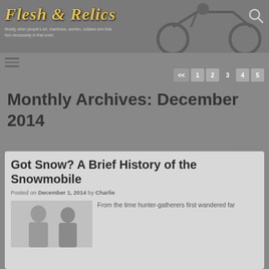Flesh & Relics — Mostly other people's art, machines, women, outlaws and that. Not necessarily in that order.
<< 1 2 3 4 5
Monthly Archives: December 2014
Next Post →
Got Snow? A Brief History of the Snowmobile
Posted on December 1, 2014 by Charlie
[Figure (photo): Two people photographed from shoulders up, greyscale/muted tones]
From the time hunter-gatherers first wandered far